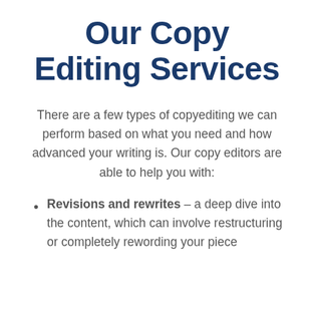Our Copy Editing Services
There are a few types of copyediting we can perform based on what you need and how advanced your writing is. Our copy editors are able to help you with:
Revisions and rewrites – a deep dive into the content, which can involve restructuring or completely rewording your piece